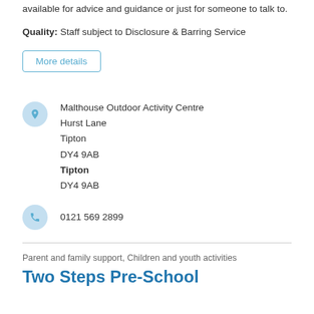available for advice and guidance or just for someone to talk to.
Quality: Staff subject to Disclosure & Barring Service
More details
Malthouse Outdoor Activity Centre
Hurst Lane
Tipton
DY4 9AB
Tipton
DY4 9AB
0121 569 2899
Parent and family support, Children and youth activities
Two Steps Pre-School